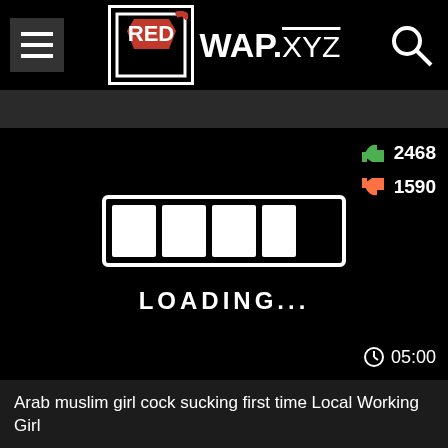RED WAP.XYZ
[Figure (screenshot): Video thumbnail showing a loading screen with loading bar and text LOADING... on black background, with thumbs up 2468, thumbs down 1590, duration 05:00]
Arab muslim girl cock sucking first time Local Working Girl
[Figure (screenshot): Partial second video card showing thumbs up 615]